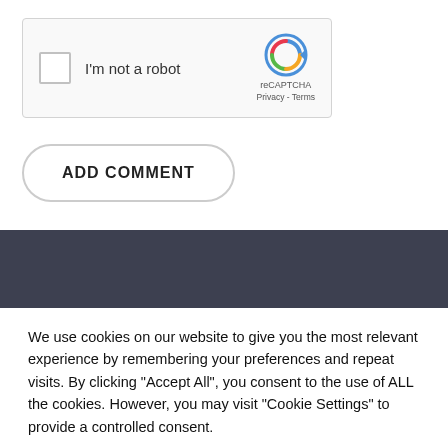[Figure (screenshot): reCAPTCHA widget with checkbox labeled 'I'm not a robot' and reCAPTCHA logo with Privacy and Terms links]
ADD COMMENT
[Figure (other): Dark gray horizontal bar separator]
We use cookies on our website to give you the most relevant experience by remembering your preferences and repeat visits. By clicking “Accept All”, you consent to the use of ALL the cookies. However, you may visit "Cookie Settings" to provide a controlled consent.
Cookie Settings
Accept All